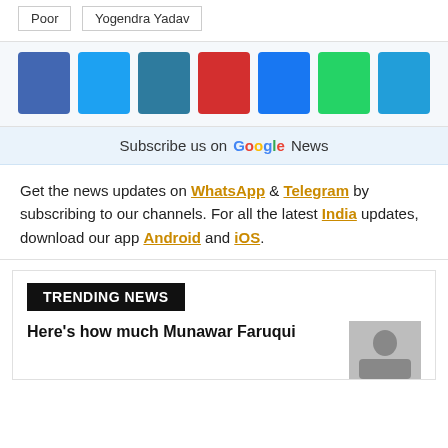Poor  Yogendra Yadav
[Figure (infographic): Row of 7 colored social share icon squares: blue (Facebook), light blue (Twitter), teal (LinkedIn), red (Pinterest), blue (Facebook Messenger), green (WhatsApp), blue (Telegram)]
Subscribe us on Google News
Get the news updates on WhatsApp & Telegram by subscribing to our channels. For all the latest India updates, download our app Android and iOS.
TRENDING NEWS
Here's how much Munawar Faruqui